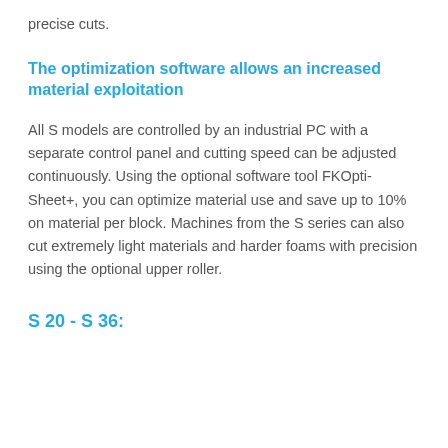precise cuts.
The optimization software allows an increased material exploitation
All S models are controlled by an industrial PC with a separate control panel and cutting speed can be adjusted continuously. Using the optional software tool FKOpti-Sheet+, you can optimize material use and save up to 10% on material per block. Machines from the S series can also cut extremely light materials and harder foams with precision using the optional upper roller.
S 20 - S 36: